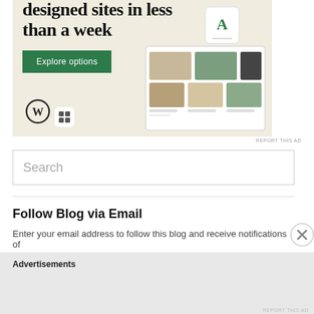[Figure (screenshot): WordPress advertisement banner showing 'designed sites in less than a week' with an Explore options button, WordPress logo, and website mockup images on a beige background]
REPORT THIS AD
Search
Follow Blog via Email
Enter your email address to follow this blog and receive notifications of
Advertisements
REPORT THIS AD